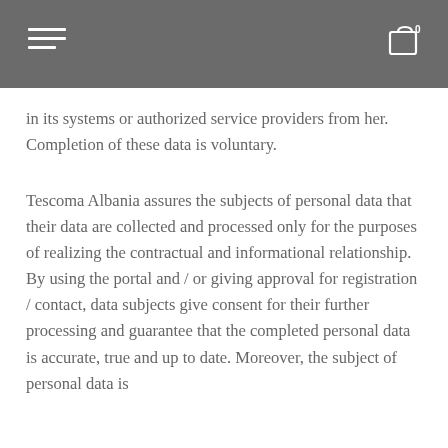in its systems or authorized service providers from her. Completion of these data is voluntary.
Tescoma Albania assures the subjects of personal data that their data are collected and processed only for the purposes of realizing the contractual and informational relationship. By using the portal and / or giving approval for registration / contact, data subjects give consent for their further processing and guarantee that the completed personal data is accurate, true and up to date. Moreover, the subject of personal data is